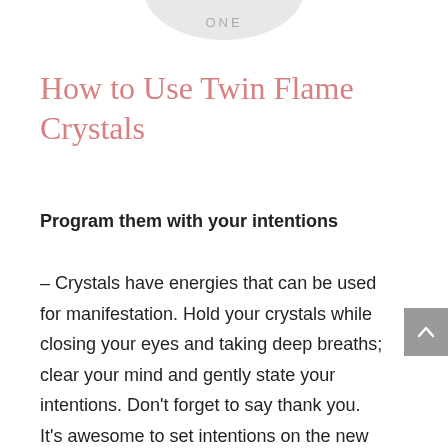[Figure (illustration): Partial grey circle at top of page with text 'ONE' visible at the bottom edge]
How to Use Twin Flame Crystals
Program them with your intentions
– Crystals have energies that can be used for manifestation. Hold your crystals while closing your eyes and taking deep breaths; clear your mind and gently state your intentions. Don't forget to say thank you. It's awesome to set intentions on the new moon. Join the Lunar Priestess Collective here this month